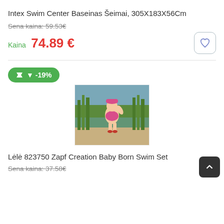Intex Swim Center Baseinas Šeimai, 305X183X56Cm
Sena kaina: 59.53€
Kaina  74.89 €
[Figure (infographic): Green discount badge showing -19% with downward arrow]
[Figure (photo): Lėlė doll in pink swimwear sitting outdoors near water with green plants]
Lėlė 823750 Zapf Creation Baby Born Swim Set
Sena kaina: 37.58€